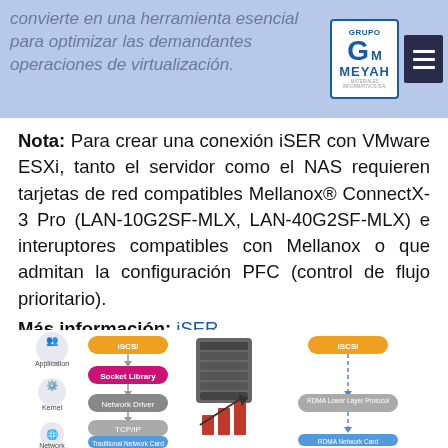convierte en una herramienta esencial para optimizar las demandantes operaciones de virtualización.
[Figure (logo): Grupo Meyah logo with blue border and hamburger menu icon]
Nota: Para crear una conexión iSER con VMware ESXi, tanto el servidor como el NAS requieren tarjetas de red compatibles Mellanox® ConnectX-3 Pro (LAN-10G2SF-MLX, LAN-40G2SF-MLX) e interuptores compatibles con Mellanox o que admitan la configuración PFC (control de flujo prioritario).
Más información: iSER
[Figure (infographic): Network diagram showing iSCSI stack on left side with Application, Kernel, Network layers and Socket Library, Network Driver, TCP/IP, Traditional Network Card components; a NAS device and growth chart in the center; iSCSI stack on right with RDMA Lower Layer Protocol and RDMA Network Card components.]